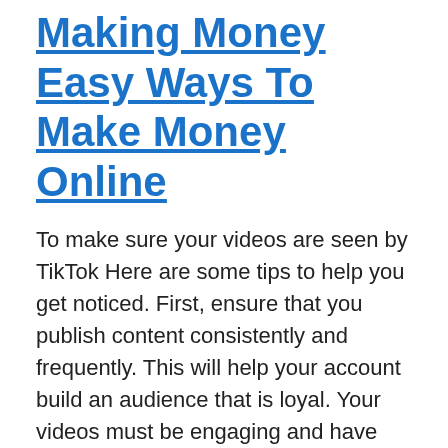Making Money Easy Ways To Make Money Online
To make sure your videos are seen by TikTok Here are some tips to help you get noticed. First, ensure that you publish content consistently and frequently. This will help your account build an audience that is loyal. Your videos must be engaging and have value. Remember that if you want to make money with TikTok it is essential to create short and interesting videos that people can relate to. If you're struggling to earn money online with TikTok think about doing some